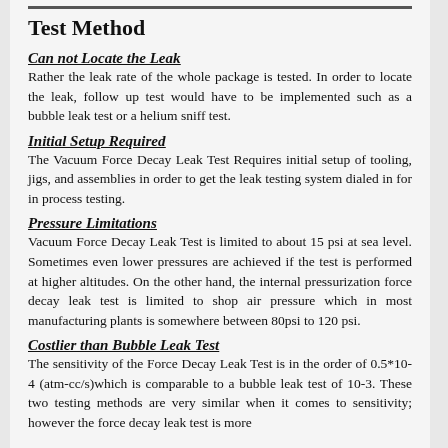Test Method
Can not Locate the Leak
Rather the leak rate of the whole package is tested. In order to locate the leak, follow up test would have to be implemented such as a bubble leak test or a helium sniff test.
Initial Setup Required
The Vacuum Force Decay Leak Test Requires initial setup of tooling, jigs, and assemblies in order to get the leak testing system dialed in for in process testing.
Pressure Limitations
Vacuum Force Decay Leak Test is limited to about 15 psi at sea level. Sometimes even lower pressures are achieved if the test is performed at higher altitudes. On the other hand, the internal pressurization force decay leak test is limited to shop air pressure which in most manufacturing plants is somewhere between 80psi to 120 psi.
Costlier than Bubble Leak Test
The sensitivity of the Force Decay Leak Test is in the order of 0.5*10-4 (atm-cc/s)which is comparable to a bubble leak test of 10-3. These two testing methods are very similar when it comes to sensitivity; however the force decay leak test is more